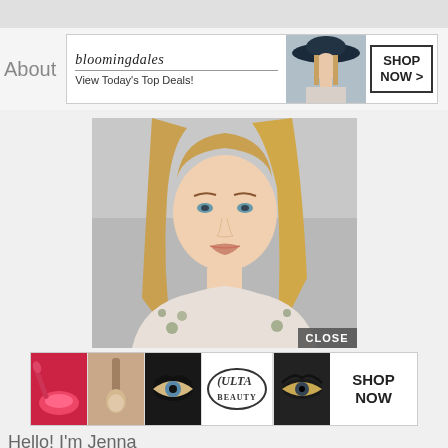[Figure (screenshot): Bloomingdales advertisement banner with text 'bloomingdales' and 'View Today's Top Deals!' alongside a woman in a hat and SHOP NOW button]
About
[Figure (photo): Portrait photo of a young blonde woman with long straight hair, wearing a floral off-shoulder top, smiling at camera against a light gray background. A CLOSE button appears in the bottom right corner.]
[Figure (screenshot): ULTA Beauty advertisement banner with makeup thumbnail images, ULTA logo, and SHOP NOW button]
Hello! I'm Jenna